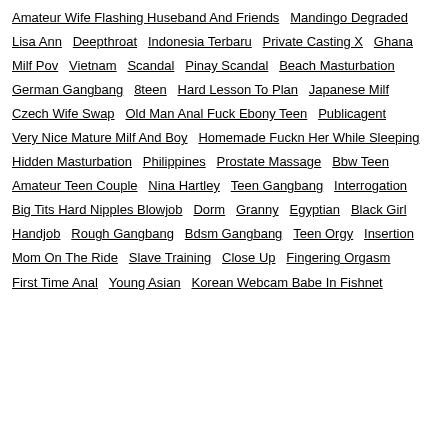Amateur Wife Flashing Huseband And Friends
Mandingo Degraded
Lisa Ann
Deepthroat
Indonesia Terbaru
Private Casting X
Ghana
Milf Pov
Vietnam
Scandal
Pinay Scandal
Beach Masturbation
German Gangbang
8teen
Hard Lesson To Plan
Japanese Milf
Czech Wife Swap
Old Man Anal Fuck Ebony Teen
Publicagent
Very Nice Mature Milf And Boy
Homemade Fuckn Her While Sleeping
Hidden Masturbation
Philippines
Prostate Massage
Bbw Teen
Amateur Teen Couple
Nina Hartley
Teen Gangbang
Interrogation
Big Tits Hard Nipples Blowjob
Dorm
Granny
Egyptian
Black Girl
Handjob
Rough Gangbang
Bdsm Gangbang
Teen Orgy
Insertion
Mom On The Ride
Slave Training
Close Up
Fingering Orgasm
First Time Anal
Young Asian
Korean Webcam Babe In Fishnet